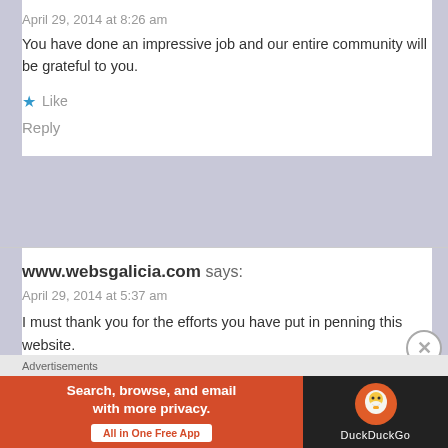April 29, 2014 at 8:26 am
You have done an impressive job and our entire community will be grateful to you.
★ Like
Reply
www.websgalicia.com says:
April 29, 2014 at 5:37 am
I must thank you for the efforts you have put in penning this website. I am hoping to view the same high-grade blog posts from you in
Advertisements
[Figure (screenshot): DuckDuckGo advertisement banner: 'Search, browse, and email with more privacy. All in One Free App' with DuckDuckGo logo on dark background]